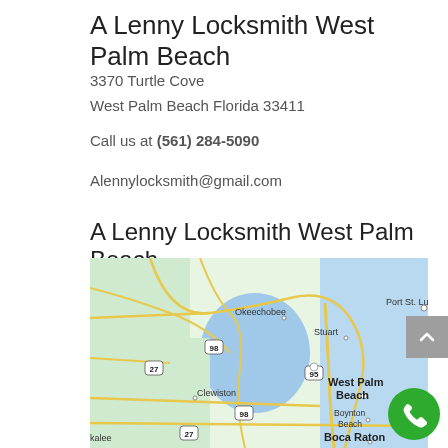A Lenny Locksmith West Palm Beach
3370 Turtle Cove
West Palm Beach Florida 33411
Call us at (561) 284-5090
Alennylocksmith@gmail.com
A Lenny Locksmith West Palm Beach
[Figure (map): Google Maps showing South Florida area including West Palm Beach, Boynton Beach, Boca Raton, Stuart, Port St. Lucie, Okeechobee, Clewiston, and surrounding regions with road networks and water bodies.]